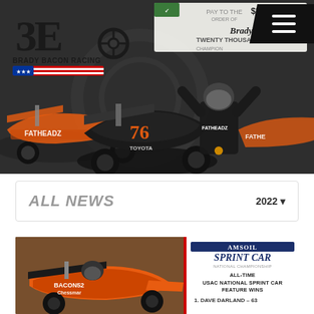[Figure (photo): Hero banner showing Brady Bacon Racing sprint cars on dirt track. Orange and black sprint car #76 (Toyota/Fatheadz sponsored) center, driver celebrating with $20,000 check overhead, additional orange sprint cars left and right. Brady Bacon Racing logo top-left. Navigation hamburger menu top-right.]
ALL NEWS
2022
[Figure (photo): News card with photo of orange BACON sprint car on dirt track (left side) and AMSOIL Sprint Car National Championship branding with 'ALL-TIME USAC NATIONAL SPRINT CAR FEATURE WINS' text and ranking list (right side)]